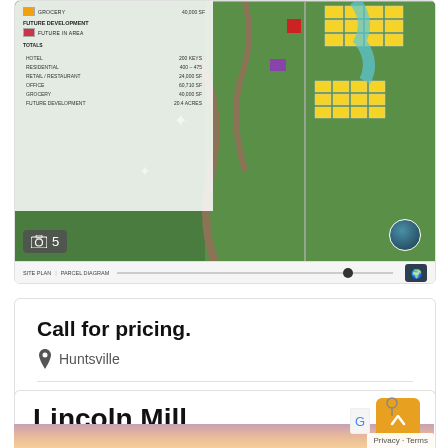[Figure (map): Aerial/satellite site plan map showing a mixed-use development with legend panel on the left showing hotel, residential, retail/restaurant, office, grocery and future development categories with acreage totals. Yellow parcels visible in upper right of map.]
5
SITE PLAN | PARCEL DIAGRAM
Call for pricing.
Huntsville
Zac Buckley
Land , Retail
Lincoln Mill
[Figure (photo): Sunset sky with warm pink, orange and peach gradient colors]
Privacy · Terms